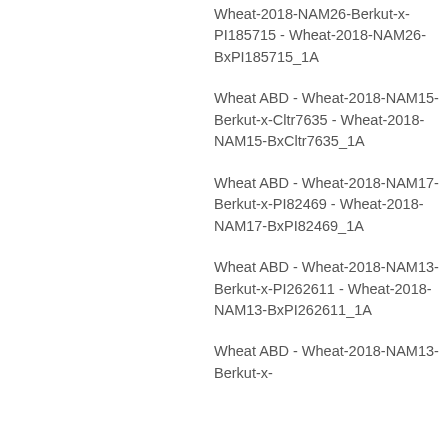Wheat-2018-NAM26-Berkut-x-PI185715 - Wheat-2018-NAM26-BxPI185715_1A
Wheat ABD - Wheat-2018-NAM15-Berkut-x-Cltr7635 - Wheat-2018-NAM15-BxCltr7635_1A
Wheat ABD - Wheat-2018-NAM17-Berkut-x-PI82469 - Wheat-2018-NAM17-BxPI82469_1A
Wheat ABD - Wheat-2018-NAM13-Berkut-x-PI262611 - Wheat-2018-NAM13-BxPI262611_1A
Wheat ABD - Wheat-2018-NAM13-Berkut-x-